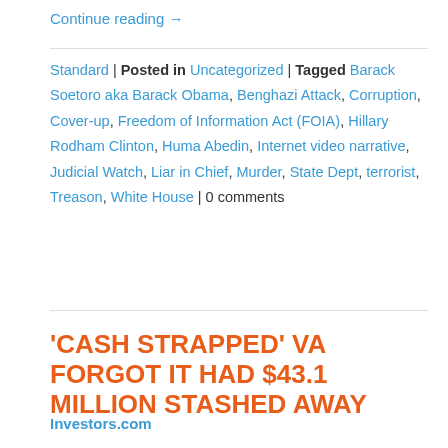Continue reading →
Standard | Posted in Uncategorized | Tagged Barack Soetoro aka Barack Obama, Benghazi Attack, Corruption, Cover-up, Freedom of Information Act (FOIA), Hillary Rodham Clinton, Huma Abedin, Internet video narrative, Judicial Watch, Liar in Chief, Murder, State Dept, terrorist, Treason, White House | 0 comments
'CASH STRAPPED' VA FORGOT IT HAD $43.1 MILLION STASHED AWAY
Investors.com
When not pleading poverty, the Department of Veterans Affairs can be awfully careless with its money. The latest